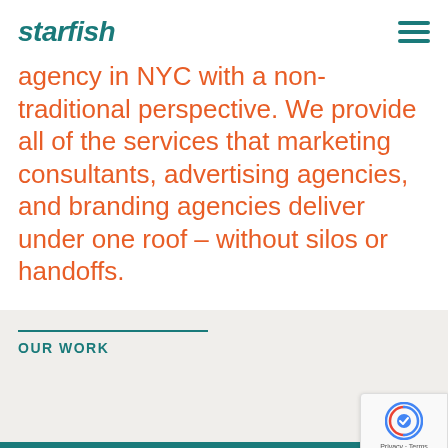[Figure (logo): Starfish agency logo in teal italic bold text]
agency in NYC with a non-traditional perspective. We provide all of the services that marketing consultants, advertising agencies, and branding agencies deliver under one roof – without silos or handoffs.
OUR WORK
[Figure (other): reCAPTCHA badge with Privacy and Terms text]